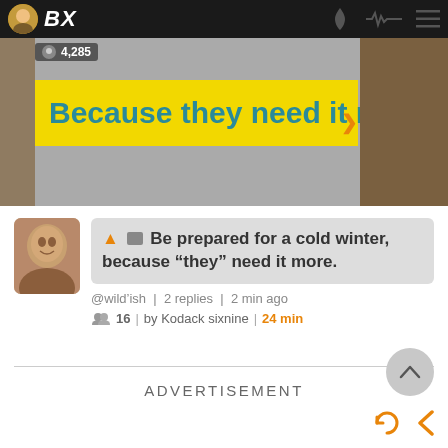BX | 4,285
[Figure (screenshot): Yellow banner with teal text reading 'Because they need it more' over a street scene background]
🔺🖼 Be prepared for a cold winter, because "they" need it more.
@wild'ish | 2 replies | 2 min ago
👥 16 | by Kodack sixnine | 24 min
ADVERTISEMENT